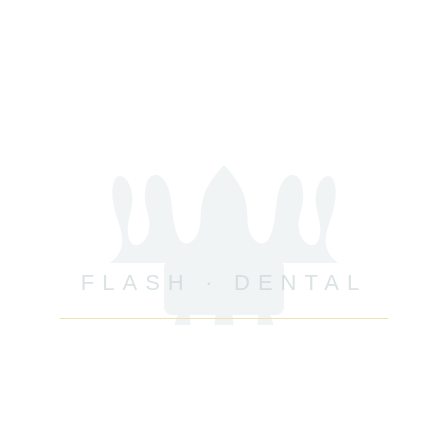[Figure (logo): Flash Dental logo — a stylized tooth/crown icon above the text 'FLASH · DENTAL', rendered in very light gray/white watermark style on white background, with a thin horizontal gold/tan divider line beneath]